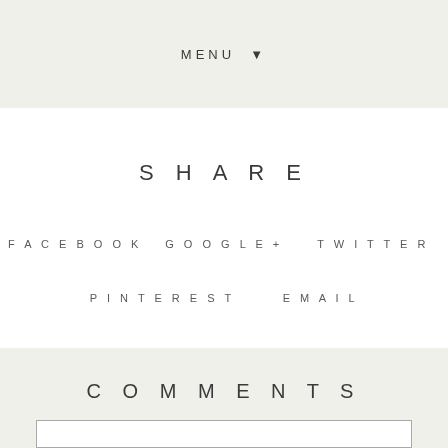MENU ▼
SHARE
FACEBOOK
GOOGLE+
TWITTER
PINTEREST
EMAIL
COMMENTS